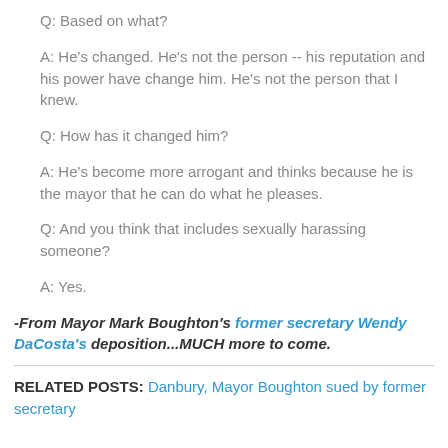Q: Based on what?
A: He's changed. He's not the person -- his reputation and his power have change him. He's not the person that I knew.
Q: How has it changed him?
A: He's become more arrogant and thinks because he is the mayor that he can do what he pleases.
Q: And you think that includes sexually harassing someone?
A: Yes.
-From Mayor Mark Boughton's former secretary Wendy DaCosta's deposition...MUCH more to come.
RELATED POSTS: Danbury, Mayor Boughton sued by former secretary